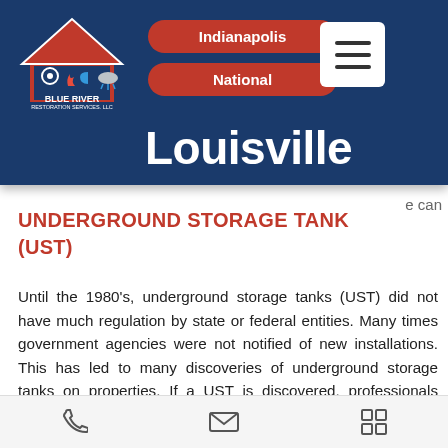[Figure (logo): Blue River Restoration Services LLC logo - house icon with fire, water and storm symbols]
Indianapolis | National | Louisville
UNDERGROUND STORAGE TANK (UST)
Until the 1980's, underground storage tanks (UST) did not have much regulation by state or federal entities. Many times government agencies were not notified of new installations. This has led to many discoveries of underground storage tanks on properties. If a UST is discovered, professionals must assess the contents of the tank as
Phone | Email | Menu